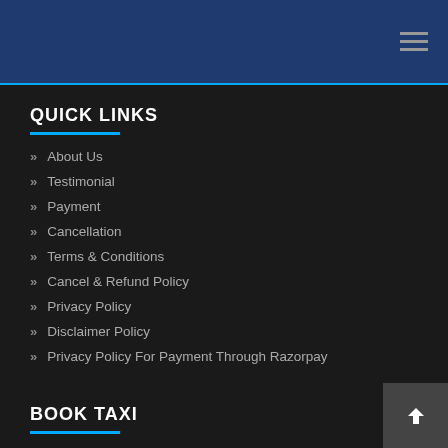Navigation bar with hamburger menu
QUICK LINKS
About Us
Testimonial
Payment
Cancellation
Terms & Conditions
Cancel & Refund Policy
Privacy Policy
Disclaimer Policy
Privacy Policy For Payment Through Razorpay
BOOK TAXI